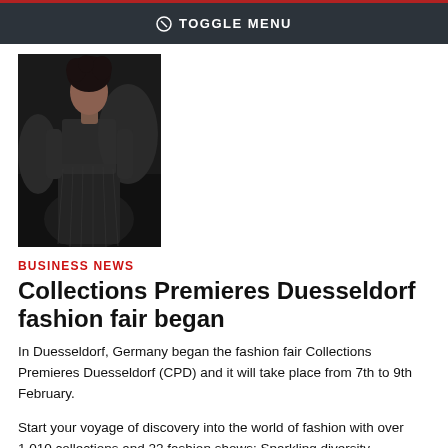TOGGLE MENU
[Figure (photo): Fashion model on runway wearing a sheer dark top and dark pleated skirt]
BUSINESS NEWS
Collections Premieres Duesseldorf fashion fair began
In Duesseldorf, Germany began the fashion fair Collections Premieres Duesseldorf (CPD) and it will take place from 7th to 9th February.
Start your voyage of discovery into the world of fashion with over 1,010 collections and 22 fashion shows: Sparkling diversity, extensive choice, talented young designers. The 2010/11 Winter